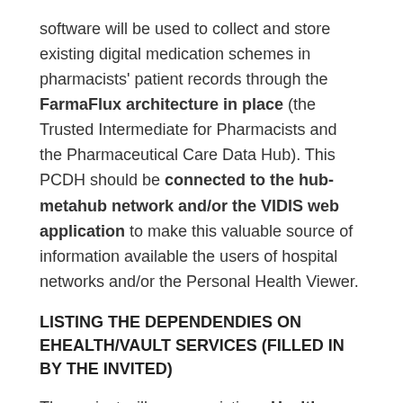software will be used to collect and store existing digital medication schemes in pharmacists' patient records through the FarmaFlux architecture in place (the Trusted Intermediate for Pharmacists and the Pharmaceutical Care Data Hub). This PCDH should be connected to the hub-metahub network and/or the VIDIS web application to make this valuable source of information available the users of hospital networks and/or the Personal Health Viewer.
LISTING THE DEPENDENDIES ON EHEALTH/VAULT SERVICES (FILLED IN BY THE INVITED)
The project will re-use existing eHealth services and standards such as end user credentials (authentication, therapeutic link and eHealthConsent),